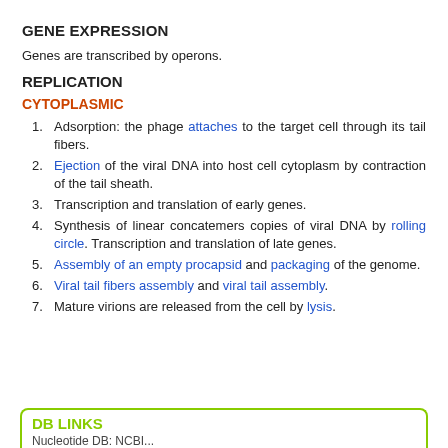GENE EXPRESSION
Genes are transcribed by operons.
REPLICATION
CYTOPLASMIC
Adsorption: the phage attaches to the target cell through its tail fibers.
Ejection of the viral DNA into host cell cytoplasm by contraction of the tail sheath.
Transcription and translation of early genes.
Synthesis of linear concatemers copies of viral DNA by rolling circle. Transcription and translation of late genes.
Assembly of an empty procapsid and packaging of the genome.
Viral tail fibers assembly and viral tail assembly.
Mature virions are released from the cell by lysis.
DB LINKS